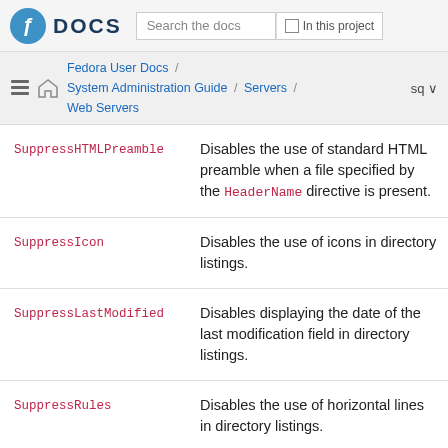Fedora DOCS | Search the docs | In this project
Fedora User Docs / System Administration Guide / Servers / Web Servers | sq
| Directive | Description |
| --- | --- |
| SuppressHTMLPreamble | Disables the use of standard HTML preamble when a file specified by the HeaderName directive is present. |
| SuppressIcon | Disables the use of icons in directory listings. |
| SuppressLastModified | Disables displaying the date of the last modification field in directory listings. |
| SuppressRules | Disables the use of horizontal lines in directory listings. |
| SuppressSize | Disables displaying the file |